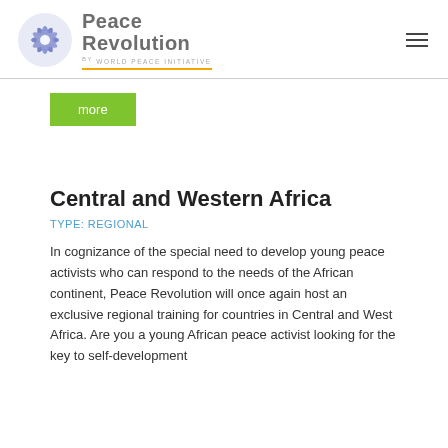[Figure (logo): Peace Revolution by World Peace Initiative logo with spiral globe icon and orange underline]
more
Central and Western Africa
TYPE: REGIONAL
In cognizance of the special need to develop young peace activists who can respond to the needs of the African continent, Peace Revolution will once again host an exclusive regional training for countries in Central and West Africa. Are you a young African peace activist looking for the key to self-development